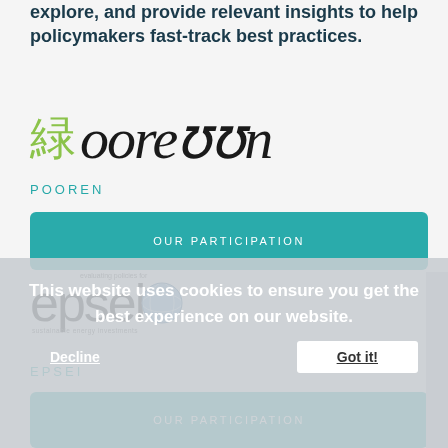explore, and provide relevant insights to help policymakers fast-track best practices.
[Figure (logo): Pooren logo with green kanji character and stylized italic 'pooren' wordmark in black]
POOREN
OUR PARTICIPATION
[Figure (logo): EPSEI logo - evaluating policies for sustainable energy investments - with globe graphic]
EPSEI
This website uses cookies to ensure you get the best experience on our website.
Decline    Got it!
OUR PARTICIPATION